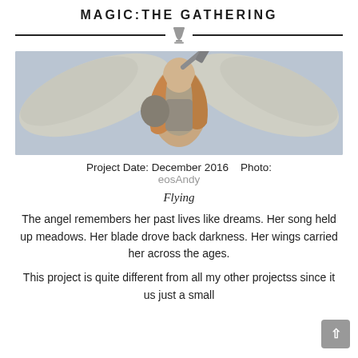MAGIC:THE GATHERING
[Figure (illustration): Fantasy illustration of an armored angel warrior with large wings spread wide, holding a weapon, with golden hair flowing, against a dramatic sky background.]
Project Date: December 2016    Photo: eosAndy
Flying
The angel remembers her past lives like dreams. Her song held up meadows. Her blade drove back darkness. Her wings carried her across the ages.
This project is quite different from all my other projectss since it us just a small